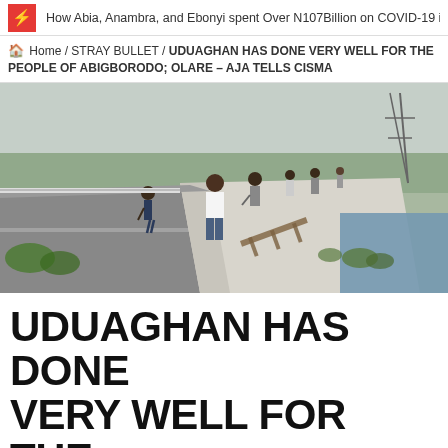How Abia, Anambra, and Ebonyi spent Over N107Billion on COVID-19 in Fi
Home / STRAY BULLET / UDUAGHAN HAS DONE VERY WELL FOR THE PEOPLE OF ABIGBORODO; OLARE – AJA TELLS CISMA
[Figure (photo): People walking on a concrete bridge/road with water and vegetation on the side, taken in daylight with hazy sky and electricity pylons in background.]
UDUAGHAN HAS DONE VERY WELL FOR THE PEOPLE OF